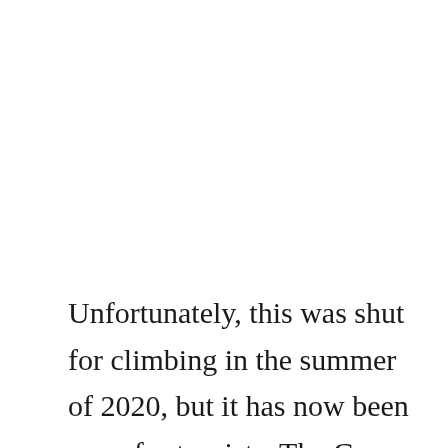Unfortunately, this was shut for climbing in the summer of 2020, but it has now been open for tourists. The Cape Herrera lighthouse was officially completed & inaugurated in December 1870, and it is one among the three iconic lighthouses to have been constructed